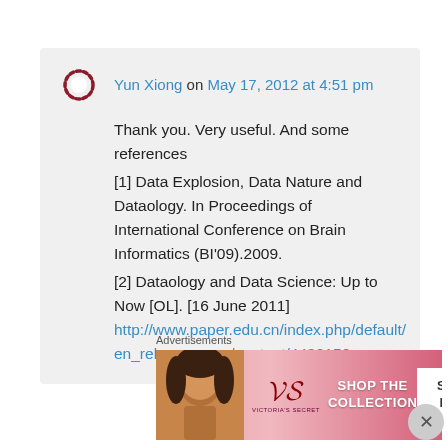Yun Xiong on May 17, 2012 at 4:51 pm
Thank you. Very useful. And some references
[1] Data Explosion, Data Nature and Dataology. In Proceedings of International Conference on Brain Informatics (BI'09).2009.
[2] Dataology and Data Science: Up to Now [OL]. [16 June 2011]
http://www.paper.edu.cn/index.php/default/en_releasepaper/content/4432156.
Advertisements
[Figure (illustration): Victoria's Secret advertisement banner showing a woman, the VS logo, 'SHOP THE COLLECTION' text, and a 'SHOP NOW' button.]